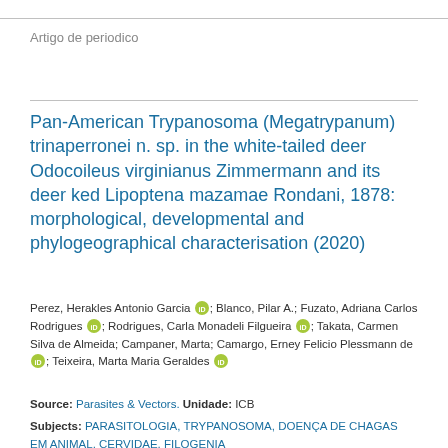Artigo de periodico
Pan-American Trypanosoma (Megatrypanum) trinaperronei n. sp. in the white-tailed deer Odocoileus virginianus Zimmermann and its deer ked Lipoptena mazamae Rondani, 1878: morphological, developmental and phylogeographical characterisation (2020)
Perez, Herakles Antonio Garcia [ORCID]; Blanco, Pilar A.; Fuzato, Adriana Carlos Rodrigues [ORCID]; Rodrigues, Carla Monadeli Filgueira [ORCID]; Takata, Carmen Silva de Almeida; Campaner, Marta; Camargo, Erney Felicio Plessmann de [ORCID]; Teixeira, Marta Maria Geraldes [ORCID]
Source: Parasites & Vectors. Unidade: ICB
Subjects: PARASITOLOGIA, TRYPANOSOMA, DOENÇA DE CHAGAS EM ANIMAL, CERVIDAE, FILOGENIA